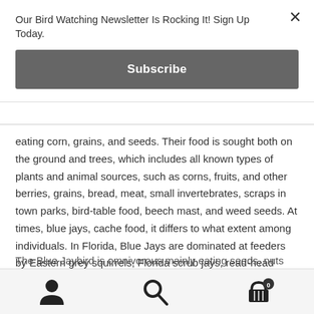Our Bird Watching Newsletter Is Rocking It! Sign Up Today.
Subscribe
eating corn, grains, and seeds. Their food is sought both on the ground and trees, which includes all known types of plants and animal sources, such as corns, fruits, and other berries, grains, bread, meat, small invertebrates, scraps in town parks, bird-table food, beech mast, and weed seeds. At times, blue jays, cache food, it differs to what extent among individuals. In Florida, Blue Jays are dominated at feeders by Eastern grey squirrels, Florida scrub jays, read-head woodpeckers, and common grackles.
The Blue Jaybird is omnivorous mainly eating seeds, nuts
user icon | search icon | cart icon (0)